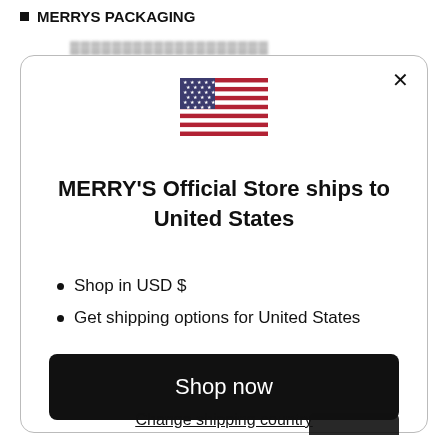■ MERRYS PACKAGING
[Figure (screenshot): Modal dialog on an e-commerce website showing a US flag, shipping destination message, bullet list, Shop now button, and Change shipping country link]
MERRY'S Official Store ships to United States
Shop in USD $
Get shipping options for United States
Shop now
Change shipping country